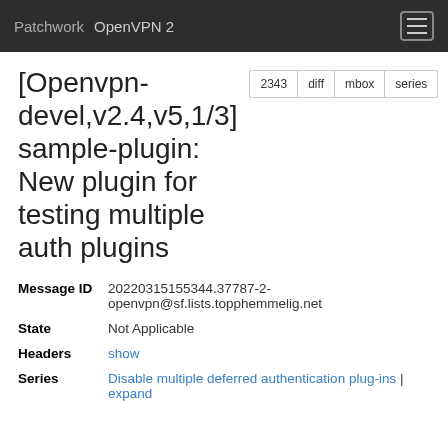Patchwork   OpenVPN 2
[Openvpn-devel,v2.4,v5,1/3] sample-plugin: New plugin for testing multiple auth plugins
| Message ID | 20220315155344.37787-2-openvpn@sf.lists.topphemmelig.net |
| State | Not Applicable |
| Headers | show |
| Series | Disable multiple deferred authentication plug-ins | expand |